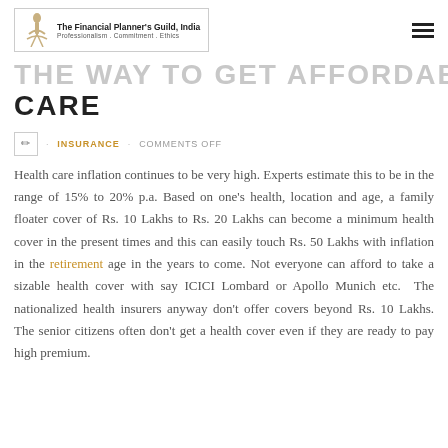The Financial Planner's Guild, India — Professionalism · Commitment · Ethics
THE WAY TO GET AFFORDABLE HEALTH CARE
· INSURANCE · COMMENTS OFF
Health care inflation continues to be very high. Experts estimate this to be in the range of 15% to 20% p.a. Based on one's health, location and age, a family floater cover of Rs. 10 Lakhs to Rs. 20 Lakhs can become a minimum health cover in the present times and this can easily touch Rs. 50 Lakhs with inflation in the retirement age in the years to come. Not everyone can afford to take a sizable health cover with say ICICI Lombard or Apollo Munich etc. The nationalized health insurers anyway don't offer covers beyond Rs. 10 Lakhs. The senior citizens often don't get a health cover even if they are ready to pay high premium.